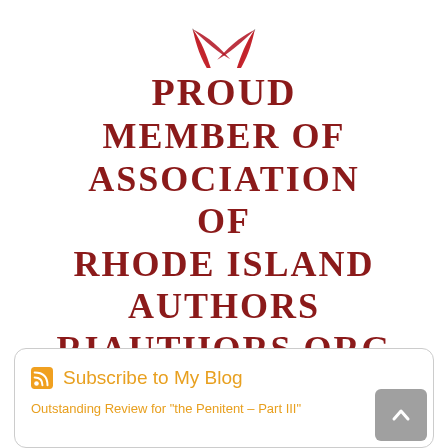[Figure (logo): Two red quill pens crossed, with gold tips, above bold dark red serif text reading 'PROUD MEMBER OF ASSOCIATION OF RHODE ISLAND AUTHORS RIAUTHORS.ORG']
Subscribe to My Blog
Outstanding Review for "the Penitent – Part III"